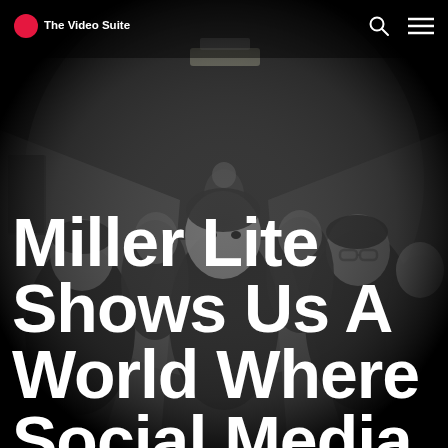[Figure (photo): Black and white fisheye lens photo of a group of people in a corridor, looking at the camera. The image has a dark vignette around the edges typical of fisheye photography.]
The Video Suite
Miller Lite Shows Us A World Where Social Media Followers Actually Follow You